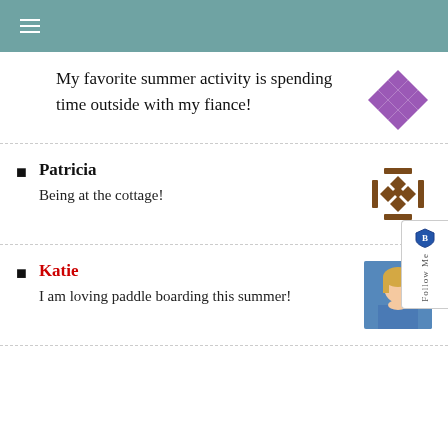☰
My favorite summer activity is spending time outside with my fiance!
Patricia — Being at the cottage!
Katie — I am loving paddle boarding this summer!